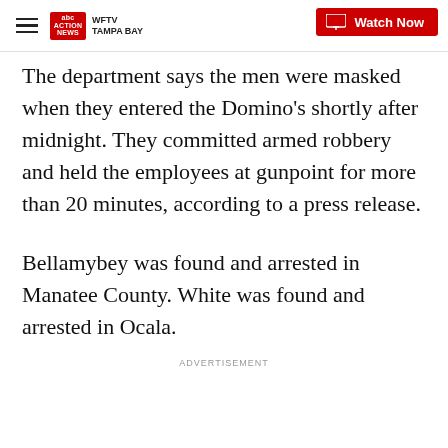WFTV TAMPA BAY | Watch Now
The department says the men were masked when they entered the Domino's shortly after midnight. They committed armed robbery and held the employees at gunpoint for more than 20 minutes, according to a press release.
Bellamybey was found and arrested in Manatee County. White was found and arrested in Ocala.
ADVERTISEMENT